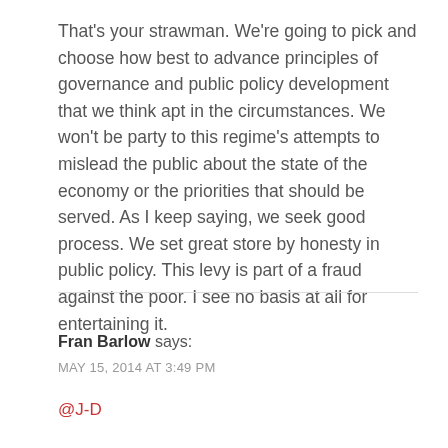That's your strawman. We're going to pick and choose how best to advance principles of governance and public policy development that we think apt in the circumstances. We won't be party to this regime's attempts to mislead the public about the state of the economy or the priorities that should be served. As I keep saying, we seek good process. We set great store by honesty in public policy. This levy is part of a fraud against the poor. I see no basis at all for entertaining it.
Fran Barlow says: MAY 15, 2014 AT 3:49 PM
@J-D